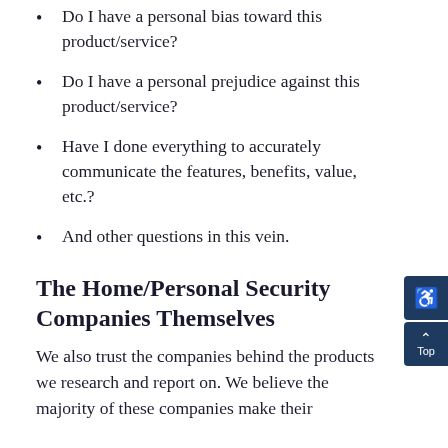Do I have a personal bias toward this product/service?
Do I have a personal prejudice against this product/service?
Have I done everything to accurately communicate the features, benefits, value, etc.?
And other questions in this vein.
The Home/Personal Security Companies Themselves
We also trust the companies behind the products we research and report on. We believe the majority of these companies make their